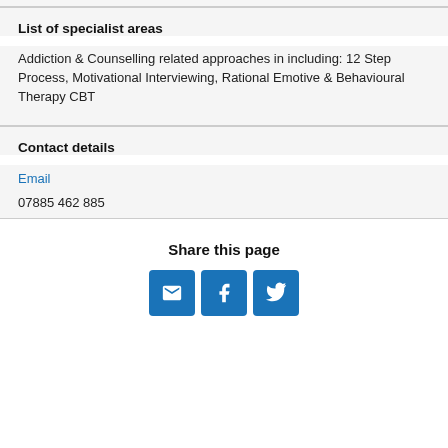List of specialist areas
Addiction & Counselling related approaches in including: 12 Step Process, Motivational Interviewing, Rational Emotive & Behavioural Therapy CBT
Contact details
Email
07885 462 885
Share this page
[Figure (infographic): Three social share buttons: email envelope icon, Facebook f icon, Twitter bird icon, all in blue square buttons]